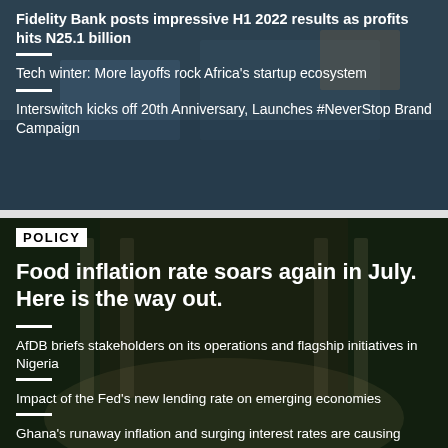[Figure (photo): Aerial/industrial background photo with dark blue overlay, top section]
Fidelity Bank posts impressive H1 2022 results as profits hits N25.1 billion
Tech winter: More layoffs rock Africa's startup ecosystem
Interswitch kicks off 20th Anniversary, Launches #NeverStop Brand Campaign
[Figure (photo): Interior hall/rotunda background photo with dark green overlay, bottom section]
POLICY
Food inflation rate soars again in July. Here is the way out.
AfDB briefs stakeholders on its operations and flagship initiatives in Nigeria
Impact of the Fed's new lending rate on emerging economies
Ghana's runaway inflation and surging interest rates are causing